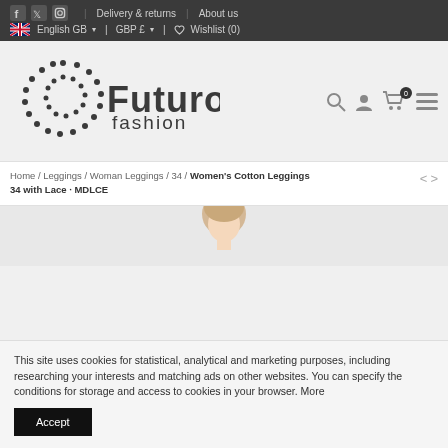Social icons: f, Twitter, Instagram | Delivery & returns | About us | English GB | GBP £ | Wishlist (0)
[Figure (logo): Futuro Fashion logo with dotted circular icon and brand name]
Home / Leggings / Woman Leggings / 34 / Women's Cotton Leggings 34 with Lace · MDLCE
[Figure (photo): Partial view of a woman wearing cotton leggings, head and upper body visible]
This site uses cookies for statistical, analytical and marketing purposes, including researching your interests and matching ads on other websites. You can specify the conditions for storage and access to cookies in your browser. More
Accept